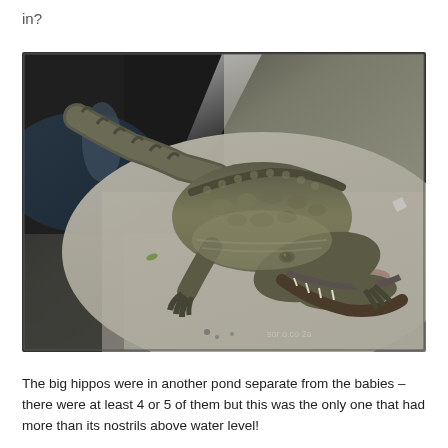in?
[Figure (photo): A crocodile lying on a flat concrete or sandy surface, viewed from above and slightly in front. The crocodile's mouth is slightly open, showing teeth. Its scaly dark greenish-grey body, legs, and tail are visible. A watermark is visible in the bottom right corner.]
The big hippos were in another pond separate from the babies – there were at least 4 or 5 of them but this was the only one that had more than its nostrils above water level!